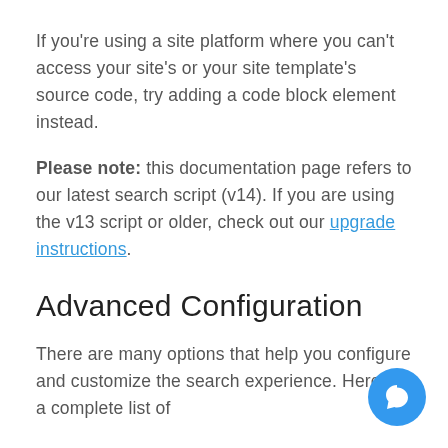If you're using a site platform where you can't access your site's or your site template's source code, try adding a code block element instead.
Please note: this documentation page refers to our latest search script (v14). If you are using the v13 script or older, check out our upgrade instructions.
Advanced Configuration
There are many options that help you configure and customize the search experience. Here is a complete list of